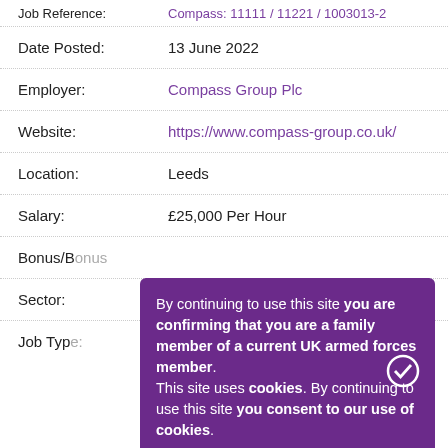| Date Posted: | 13 June 2022 |
| Employer: | Compass Group Plc |
| Website: | https://www.compass-group.co.uk/ |
| Location: | Leeds |
| Salary: | £25,000 Per Hour |
| Bonus/B… |  |
| Sector: | Hospitality & Tourism |
| Job Type: |  |
By continuing to use this site you are confirming that you are a family member of a current UK armed forces member. This site uses cookies. By continuing to use this site you consent to our use of cookies.